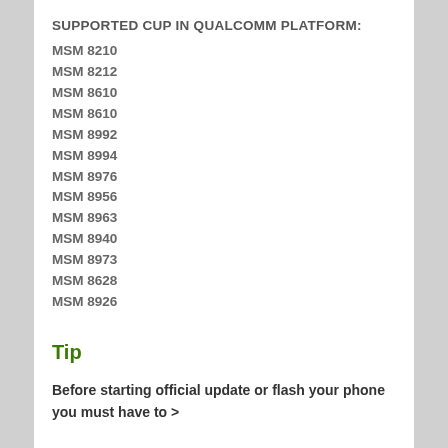SUPPORTED CUP IN QUALCOMM PLATFORM:
MSM 8210
MSM 8212
MSM 8610
MSM 8610
MSM 8992
MSM 8994
MSM 8976
MSM 8956
MSM 8963
MSM 8940
MSM 8973
MSM 8628
MSM 8926
Tip
Before starting official update or flash your phone you must have to >